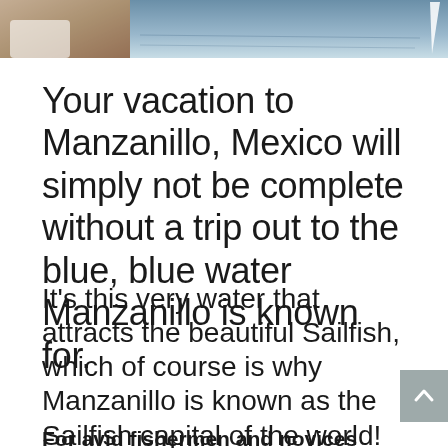[Figure (photo): Partial photo strip at top showing blue water/ocean background with partial view of a person and a sail]
Your vacation to Manzanillo, Mexico will simply not be complete without a trip out to the blue, blue water Manzanillo is known for.
It's this very water that attracts the beautiful Sailfish, which of course is why Manzanillo is known as the Sailfish capital of the world!
For avid fishermen and novices alike, deep sea